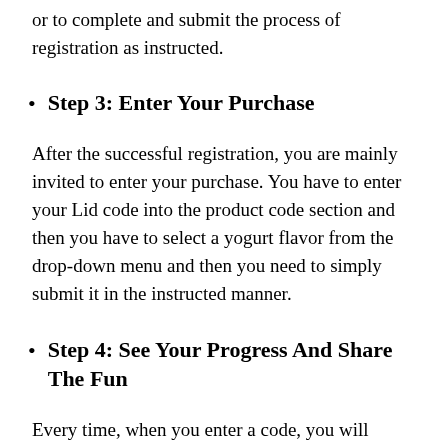or to complete and submit the process of registration as instructed.
Step 3: Enter Your Purchase
After the successful registration, you are mainly invited to enter your purchase. You have to enter your Lid code into the product code section and then you have to select a yogurt flavor from the drop-down menu and then you need to simply submit it in the instructed manner.
Step 4: See Your Progress And Share The Fun
Every time, when you enter a code, you will simply find out the ranking status. You may share the fun with your